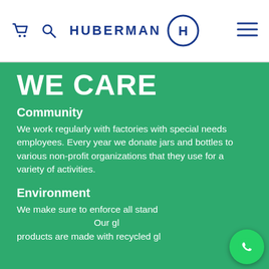HUBERMAN (navigation bar with cart, search, logo, and menu icons)
WE CARE
Community
We work regularly with factories with special needs employees. Every year we donate jars and bottles to various non-profit organizations that they use for a variety of activities.
Environment
We make sure to enforce all standards related to packaging recycle. Our glass products are made with recycled glass...